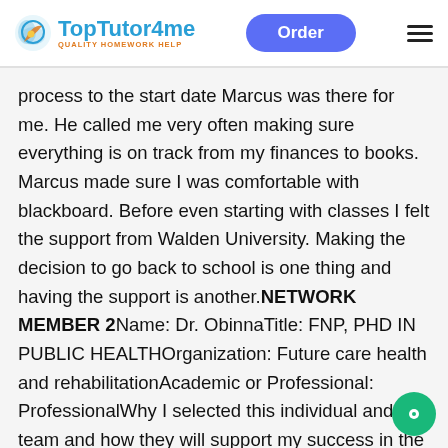TopTutor4me — QUALITY HOMEWORK HELP | Order | Menu
process to the start date Marcus was there for me. He called me very often making sure everything is on track from my finances to books. Marcus made sure I was comfortable with blackboard. Before even starting with classes I felt the support from Walden University. Making the decision to go back to school is one thing and having the support is another.NETWORK MEMBER 2Name: Dr. ObinnaTitle: FNP, PHD IN PUBLIC HEALTHOrganization: Future care health and rehabilitationAcademic or Professional: ProfessionalWhy I selected this individual and/or team and how they will support my success in the MSN program and as a practicing nurse Dr. Obi...